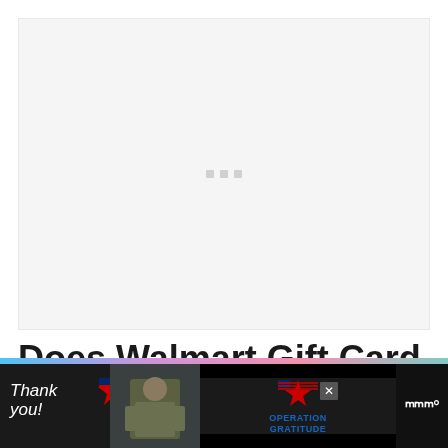[Figure (other): Loading/advertisement placeholder area with light gray background and three small gray loading indicator squares in the center]
Does Walmart Gift Card Replacement Expire?
[Figure (other): Bottom advertisement banner for Operation Gratitude with black background, colorful gradient top strip, thank you script text, US flag star graphic, soldier photo, Operation Gratitude logo with star and text, close button, and Mediaite/MW logo on the right]